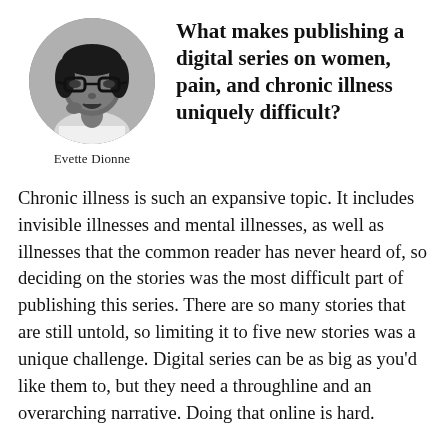[Figure (photo): Circular black-and-white portrait photo of Evette Dionne, a woman wearing glasses]
Evette Dionne
What makes publishing a digital series on women, pain, and chronic illness uniquely difficult?
Chronic illness is such an expansive topic. It includes invisible illnesses and mental illnesses, as well as illnesses that the common reader has never heard of, so deciding on the stories was the most difficult part of publishing this series. There are so many stories that are still untold, so limiting it to five new stories was a unique challenge. Digital series can be as big as you’d like them to, but they need a throughline and an overarching narrative. Doing that online is hard.